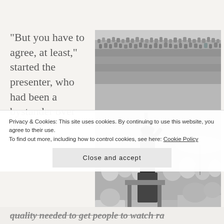“But you have to agree, at least,” started the presenter, who had been a bystander over the past
[Figure (photo): Black and white photograph of a woman speaking at a podium or microphone stand, addressing a large outdoor crowd. Many people are seated in the background.]
Privacy & Cookies: This site uses cookies. By continuing to use this website, you agree to their use.
To find out more, including how to control cookies, see here: Cookie Policy
Close and accept
quality needed to get people to watch ra